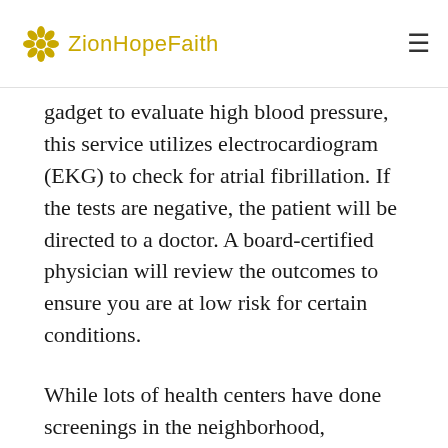ZionHopeFaith
gadget to evaluate high blood pressure, this service utilizes electrocardiogram (EKG) to check for atrial fibrillation. If the tests are negative, the patient will be directed to a doctor. A board-certified physician will review the outcomes to ensure you are at low risk for certain conditions.
While lots of health centers have done screenings in the neighborhood, HealthFair sponsors health fairs where people can get their high blood pressure examined. While there's no evidence that Life Line treatments